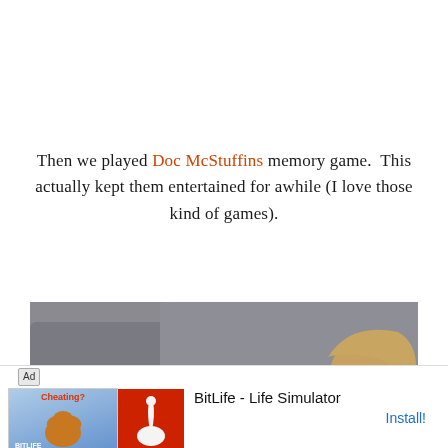Then we played Doc McStuffins memory game.  This actually kept them entertained for awhile (I love those kind of games).
[Figure (photo): A child sitting on a green and white patterned rug, leaning over to play a Doc McStuffins memory card game. A grey couch is visible in the background.]
[Figure (screenshot): Advertisement banner for BitLife - Life Simulator app, showing the BitLife logo on a red background with a sperm icon, and a Cheating? promotional image. Includes an Install! button.]